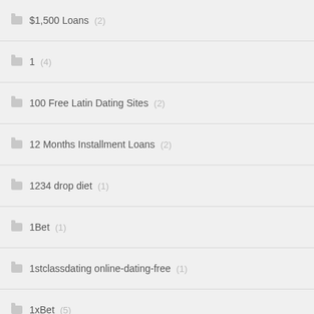$1,500 Loans (2)
1 (4)
100 Free Latin Dating Sites (2)
12 Months Installment Loans (2)
1234 drop diet (1)
1Bet (1)
1stclassdating online-dating-free (1)
1xBet (5)
1xBet Обзор (1)
2 (4)